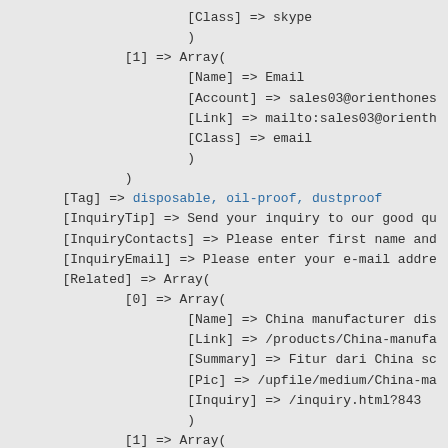Code/array dump showing PHP-style array structure with fields: [Class] => skype, [1] => Array([Name] => Email, [Account] => sales03@orienthones, [Link] => mailto:sales03@orienth, [Class] => email), [Tag] => disposable, oil-proof, dustproof, [InquiryTip] => Send your inquiry to our good qu, [InquiryContacts] => Please enter first name and, [InquiryEmail] => Please enter your e-mail addre, [Related] => Array([0] => Array([Name] => China manufacturer dis, [Link] => /products/China-manufa, [Summary] => Fitur dari China sc, [Pic] => /upfile/medium/China-ma, [Inquiry] => /inquiry.html?843), [1] => Array([Name] => China manufacturer dis